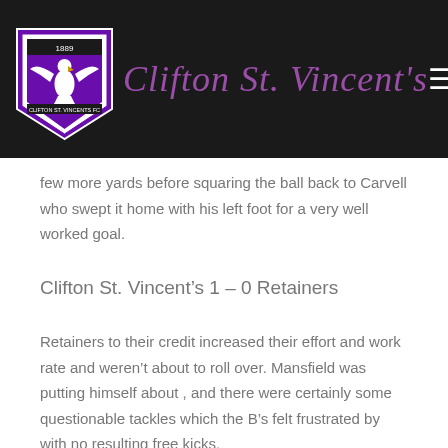Clifton St. Vincent's
few more yards before squaring the ball back to Carvell who swept it home with his left foot for a very well worked goal.
Clifton St. Vincent’s 1 – 0 Retainers
Retainers to their credit increased their effort and work rate and weren’t about to roll over. Mansfield was putting himself about , and there were certainly some questionable tackles which the B’s felt frustrated by with no resulting free kicks.